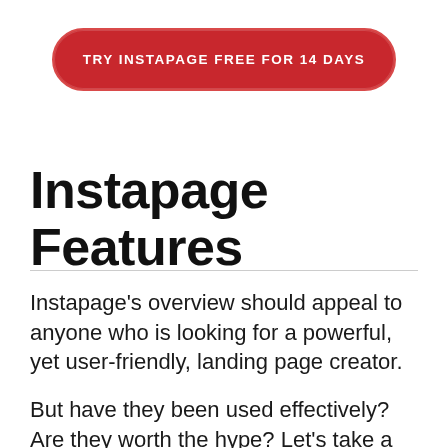[Figure (other): Red rounded rectangle CTA button with white uppercase text reading 'TRY INSTAPAGE FREE FOR 14 DAYS']
Instapage Features
Instapage's overview should appeal to anyone who is looking for a powerful, yet user-friendly, landing page creator.
But have they been used effectively? Are they worth the hype? Let's take a